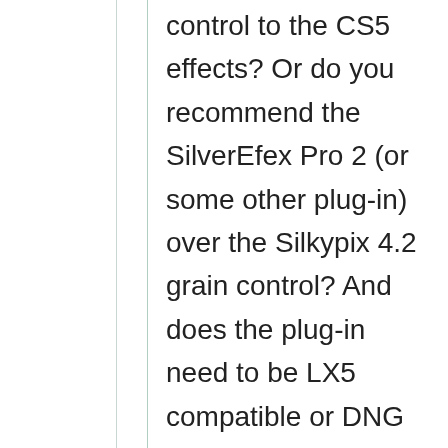control to the CS5 effects? Or do you recommend the SilverEfex Pro 2 (or some other plug-in) over the Silkypix 4.2 grain control? And does the plug-in need to be LX5 compatible or DNG compatible (I'm confused)? I've done a lot of internet searching and I feel stuck in a circle. I hope I'm making